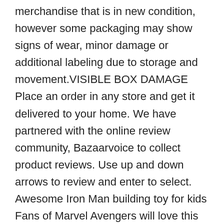merchandise that is in new condition, however some packaging may show signs of wear, minor damage or additional labeling due to storage and movement.VISIBLE BOX DAMAGE Place an order in any store and get it delivered to your home. We have partnered with the online review community, Bazaarvoice to collect product reviews. Use up and down arrows to review and enter to select. Awesome Iron Man building toy for kids Fans of Marvel Avengers will love this action-packed Iron Man mech figure. Contains 148 Pieces.  https://www.lego.com/en-gb/service/ 76140 Iron Man Mech has provoked significant interest because Iron Man and mechs are intrinsically connected and this model looks brilliant. LEGO Set 76140-1 Iron Man Mech - building instructions and parts inventory. *Excludes Scottish